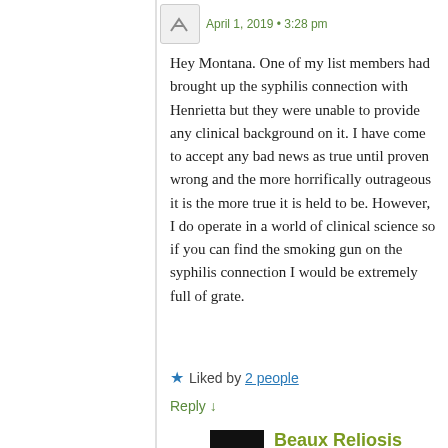April 1, 2019 • 3:28 pm
Hey Montana. One of my list members had brought up the syphilis connection with Henrietta but they were unable to provide any clinical background on it. I have come to accept any bad news as true until proven wrong and the more horrifically outrageous it is the more true it is held to be. However, I do operate in a world of clinical science so if you can find the smoking gun on the syphilis connection I would be extremely full of grate.
★ Liked by 2 people
Reply ↓
Beaux Reliosis
April 2, 2019 • 5:56 am
I bet she did. Would love to see that smoking gun. My grandmother died of "MS" but all this reading on syphilis lately really has me wondering what really made her blind and bedridden.